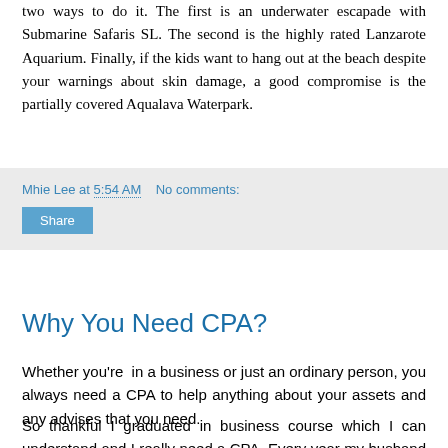two ways to do it. The first is an underwater escapade with Submarine Safaris SL. The second is the highly rated Lanzarote Aquarium. Finally, if the kids want to hang out at the beach despite your warnings about skin damage, a good compromise is the partially covered Aqualava Waterpark.
Mhie Lee at 5:54 AM    No comments:
Share
Why You Need CPA?
Whether you're  in a business or just an ordinary person, you always need a CPA to help anything about your assets and any advises that you need.
So thankful I graduated in business course which I can understand and I really need a CPA. Every year my husband and I contact a cpa for our tax preparation. I rely in most